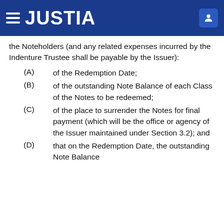JUSTIA
the Noteholders (and any related expenses incurred by the Indenture Trustee shall be payable by the Issuer):
(A)   of the Redemption Date;
(B)   of the outstanding Note Balance of each Class of the Notes to be redeemed;
(C)   of the place to surrender the Notes for final payment (which will be the office or agency of the Issuer maintained under Section 3.2); and
(D)   that on the Redemption Date, the outstanding Note Balance